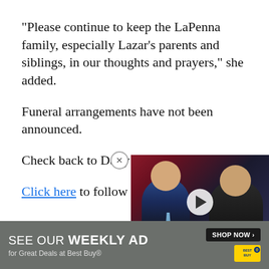"Please continue to keep the LaPenna family, especially Lazar's parents and siblings, in our thoughts and prayers," she added.
Funeral arrangements have not been announced.
Check back to Daily Voice f[or updates].
Click here to follow Daily Vo[ice on Facebook]...
[Figure (screenshot): Video player overlay showing two men (news anchors/guests) with a play button in the center, and a lower bar with 'WALL STREET' text. A close (X) button appears at the top-left of the overlay.]
[Figure (infographic): Best Buy advertisement banner reading 'SEE OUR WEEKLY AD for Great Deals at Best Buy®' with a SHOP NOW button and Best Buy logo.]